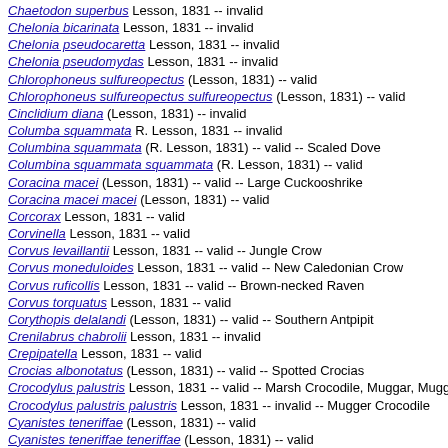Chaetodon superbus Lesson, 1831 -- invalid
Chelonia bicarinata Lesson, 1831 -- invalid
Chelonia pseudocaretta Lesson, 1831 -- invalid
Chelonia pseudomydas Lesson, 1831 -- invalid
Chlorophoneus sulfureopectus (Lesson, 1831) -- valid
Chlorophoneus sulfureopectus sulfureopectus (Lesson, 1831) -- valid
Cinclidium diana (Lesson, 1831) -- invalid
Columba squammata R. Lesson, 1831 -- invalid
Columbina squammata (R. Lesson, 1831) -- valid -- Scaled Dove
Columbina squammata squammata (R. Lesson, 1831) -- valid
Coracina macei (Lesson, 1831) -- valid -- Large Cuckooshrike
Coracina macei macei (Lesson, 1831) -- valid
Corcorax Lesson, 1831 -- valid
Corvinella Lesson, 1831 -- valid
Corvus levaillantii Lesson, 1831 -- valid -- Jungle Crow
Corvus moneduloides Lesson, 1831 -- valid -- New Caledonian Crow
Corvus ruficollis Lesson, 1831 -- valid -- Brown-necked Raven
Corvus torquatus Lesson, 1831 -- valid
Corythopis delalandi (Lesson, 1831) -- valid -- Southern Antpipit
Crenilabrus chabrolii Lesson, 1831 -- invalid
Crepipatella Lesson, 1831 -- valid
Crocias albonotatus (Lesson, 1831) -- valid -- Spotted Crocias
Crocodylus palustris Lesson, 1831 -- valid -- Marsh Crocodile, Muggar, Mugge
Crocodylus palustris palustris Lesson, 1831 -- invalid -- Mugger Crocodile
Cyanistes teneriffae (Lesson, 1831) -- valid
Cyanistes teneriffae teneriffae (Lesson, 1831) -- valid
Cypsnagra R. Lesson, 1831 -- valid
Cypsnagra hirundinacea (R. Lesson, 1831) -- valid -- bandoleta, Tangara culib
Cypsnagra hirundinacea hirundinacea (R. Lesson, 1831) -- valid
Dupetor flavicollis australis (Lesson, 1831) -- valid
Embernagra R. Lesson, 1831 -- valid
Emys belangeri Lesson, 1831 -- invalid